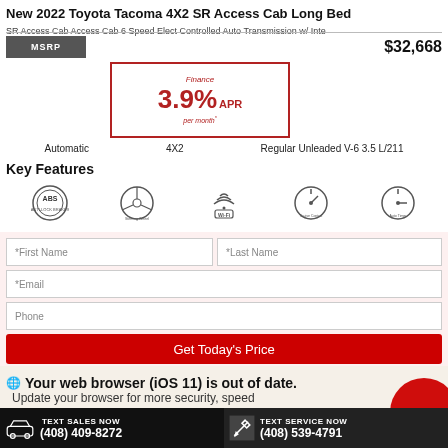New 2022 Toyota Tacoma 4X2 SR Access Cab Long Bed
SR Access Cab Access Cab 6 Speed Elect Controlled Auto Transmission w/ Inte
MSRP $32,668
Finance 3.9% APR per month*
Automatic  4X2  Regular Unleaded V-6 3.5 L/211
Key Features
[Figure (infographic): Key features icons: ABS (Anti-lock Brake System), Steering Wheel, Wi-Fi, Cruise Control, another circular icon]
*First Name  *Last Name
*Email
Phone
Get Today's Price
Your web browser (iOS 11) is out of date. Update your browser for more security, speed...
TEXT SALES NOW (408) 409-8272  TEXT SERVICE NOW (408) 539-4791